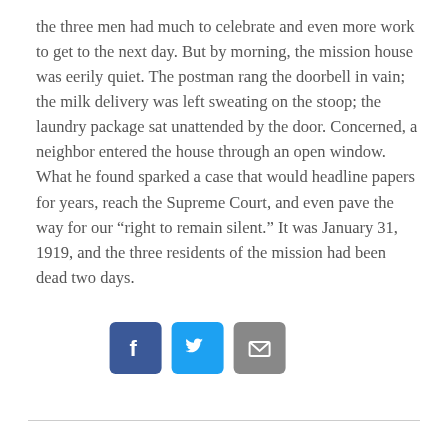the three men had much to celebrate and even more work to get to the next day. But by morning, the mission house was eerily quiet. The postman rang the doorbell in vain; the milk delivery was left sweating on the stoop; the laundry package sat unattended by the door. Concerned, a neighbor entered the house through an open window. What he found sparked a case that would headline papers for years, reach the Supreme Court, and even pave the way for our “right to remain silent.” It was January 31, 1919, and the three residents of the mission had been dead two days.
[Figure (other): READ MORE button (dark red rounded rectangle) and social sharing icons: Facebook (blue), Twitter (light blue), Email (gray)]